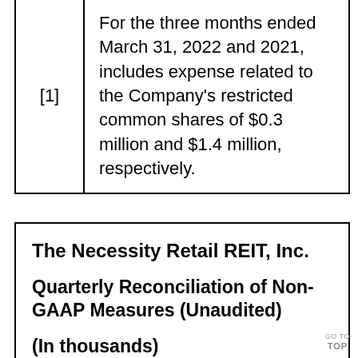|  |  |
| --- | --- |
| [1] | For the three months ended March 31, 2022 and 2021, includes expense related to the Company's restricted common shares of $0.3 million and $1.4 million, respectively. |
The Necessity Retail REIT, Inc.
Quarterly Reconciliation of Non-GAAP Measures (Unaudited)
(In thousands)
GO TO TOP